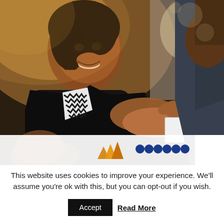[Figure (photo): Business meeting photo showing a smiling woman in black and white patterned clothing shaking hands or exchanging a card with a man in a dark suit, with warm bokeh lighting background. Partially overlaid at bottom by a logo strip showing an orange chevron/mountain logo mark and blue text partially visible.]
This website uses cookies to improve your experience. We'll assume you're ok with this, but you can opt-out if you wish.
Accept  Read More